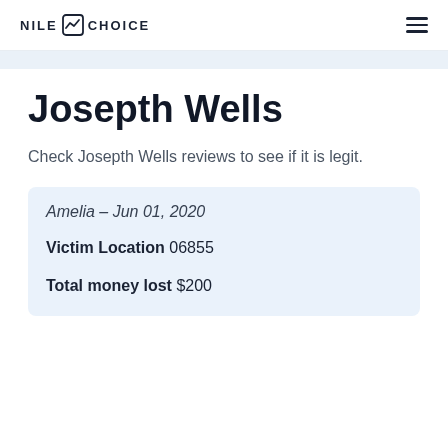NILE CHOICE
Josepth Wells
Check Josepth Wells reviews to see if it is legit.
Amelia – Jun 01, 2020
Victim Location 06855
Total money lost $200